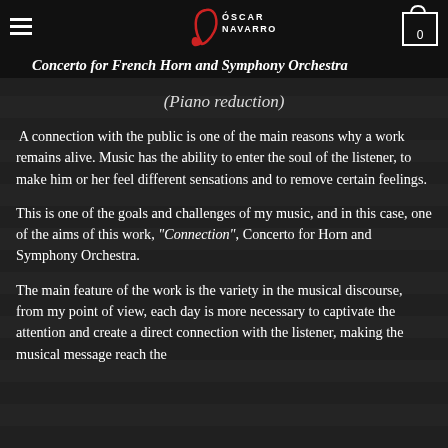Concerto for French Horn and Symphony Orchestra
(Piano reduction)
A connection with the public is one of the main reasons why a work remains alive. Music has the ability to enter the soul of the listener, to make him or her feel different sensations and to remove certain feelings.
This is one of the goals and challenges of my music, and in this case, one of the aims of this work, "Connection", Concerto for Horn and Symphony Orchestra.
The main feature of the work is the variety in the musical discourse, from my point of view, each day is more necessary to captivate the attention and create a direct connection with the listener, making the musical message reach the